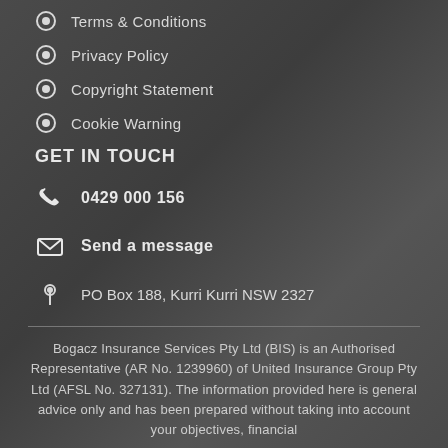Terms & Conditions
Privacy Policy
Copyright Statement
Cookie Warning
GET IN TOUCH
0429 000 156
Send a message
PO Box 188, Kurri Kurri NSW 2327
Bogacz Insurance Services Pty Ltd (BIS) is an Authorised Representative (AR No. 1239960) of United Insurance Group Pty Ltd (AFSL No. 327131). The information provided here is general advice only and has been prepared without taking into account your objectives, financial